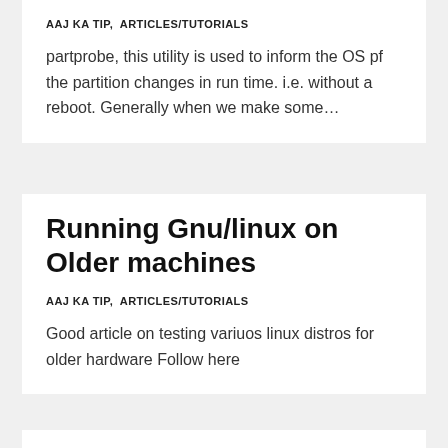AAJ KA TIP,  ARTICLES/TUTORIALS
partprobe, this utility is used to inform the OS pf the partition changes in run time. i.e. without a reboot. Generally when we make some…
Running Gnu/linux on Older machines
AAJ KA TIP,  ARTICLES/TUTORIALS
Good article on testing variuos linux distros for older hardware Follow here